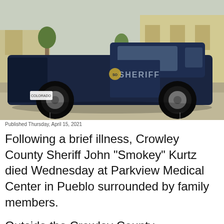[Figure (photo): A dark blue CCSO (Crowley County Sheriff's Office) Ford pickup truck parked outside a building, with the word SHERIFF visible on the door. The truck is parked on a street in front of what appears to be the Crowley County Courthouse.]
Published Thursday, April 15, 2021
Following a brief illness, Crowley County Sheriff John "Smokey" Kurtz died Wednesday at Parkview Medical Center in Pueblo surrounded by family members.
Outside the Crowley County Courthouse in Ordway, a parked CCSO pickup displayed a portrait of Kurtz, while his